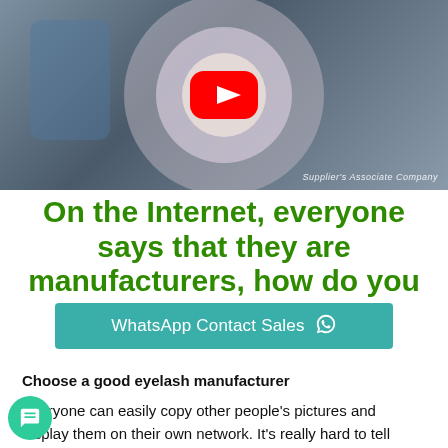[Figure (screenshot): YouTube video thumbnail showing a magnifying lamp and a person working, with a YouTube play button overlay and 'Supplier's Associate Company' watermark in the bottom right.]
On the Internet, everyone says that they are manufacturers, how do you tell them?
[Figure (infographic): Teal/green WhatsApp Contact Sales button with WhatsApp icon]
Choose a good eyelash manufacturer
Everyone can easily copy other people's pictures and display them on their own network. It's really hard to tell...